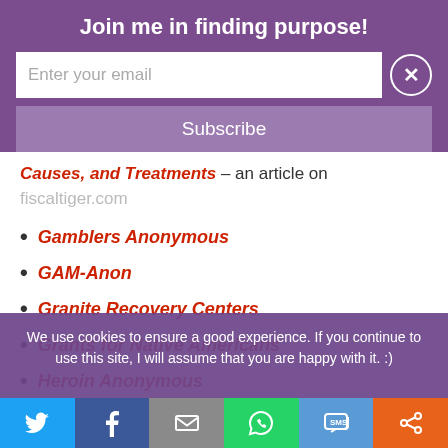Join me in finding purpose!
Enter your email
Subscribe
Causes, and Treatments – an article on fiscaltiger.com
Gamblers Anonymous
GAM-Anon
Granite Recovery Centers
Grants for Native Americans
Heroin Anonymous
We use cookies to ensure a good experience. If you continue to use this site, I will assume that you are happy with it. :)